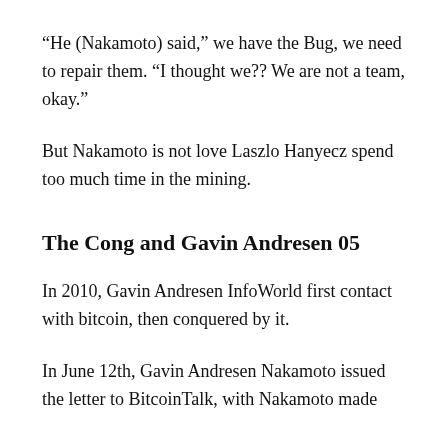“He (Nakamoto) said,” we have the Bug, we need to repair them. “I thought we?? We are not a team, okay.”
But Nakamoto is not love Laszlo Hanyecz spend too much time in the mining.
The Cong and Gavin Andresen 05
In 2010, Gavin Andresen InfoWorld first contact with bitcoin, then conquered by it.
In June 12th, Gavin Andresen Nakamoto issued the letter to BitcoinTalk, with Nakamoto made